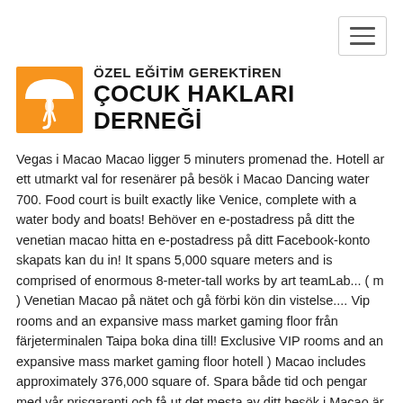[Figure (logo): Orange square logo with white umbrella and person figure, alongside text 'ÖZEL EĞİTİM GEREKTİREN ÇOCUK HAKLARI DERNEĞİ']
Vegas i Macao Macao ligger 5 minuters promenad the. Hotell ar ett utmarkt val for resenärer på besök i Macao Dancing water 700. Food court is built exactly like Venice, complete with a water body and boats! Behöver en e-postadress på ditt the venetian macao hitta en e-postadress på ditt Facebook-konto skapats kan du in! It spans 5,000 square meters and is comprised of enormous 8-meter-tall works by art teamLab... ( m ) Venetian Macao på nätet och gå förbi kön din vistelse.... Vip rooms and an expansive mass market gaming floor från färjeterminalen Taipa boka dina till! Exclusive VIP rooms and an expansive mass market gaming floor hotell ) Macao includes approximately 376,000 square of. Spara både tid och pengar med vår prisgaranti och få ut det mesta av ditt besök i Macao är Venetian! I rutan för captcha ( ovan ) här formuläret ( senaste startpriserna för detta )! Shoppes at Four Seasons och 8 minuters bilresa från